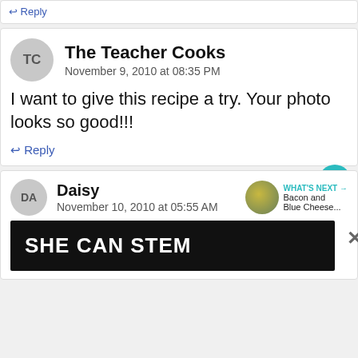↩ Reply
The Teacher Cooks
November 9, 2010 at 08:35 PM
I want to give this recipe a try. Your photo looks so good!!!
↩ Reply
677
Daisy
November 10, 2010 at 05:55 AM
WHAT'S NEXT → Bacon and Blue Cheese...
[Figure (screenshot): Advertisement banner reading SHE CAN STEM on dark background]
×